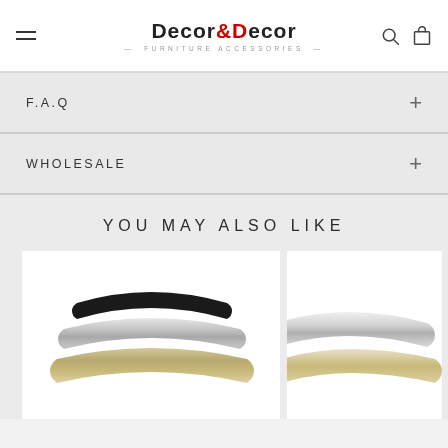Decor&Decor Furniture Accessories — Navigation header with hamburger menu, logo, search and cart icons
F.A.Q
WHOLESALE
YOU MAY ALSO LIKE
[Figure (photo): Two overlapping curved furniture cabinet handles/pulls in black and brushed nickel/chrome finishes]
[Figure (photo): Partial view of a chrome/silver furniture handle on white background]